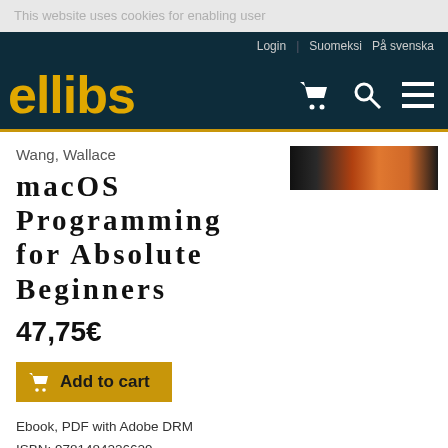This website uses cookies for enabling user
Login | Suomeksi På svenska
ellibs
Wang, Wallace
macOS Programming for Absolute Beginners
47,75€
Add to cart
Ebook, PDF with Adobe DRM
ISBN: 9781484226629
DRM Restrictions